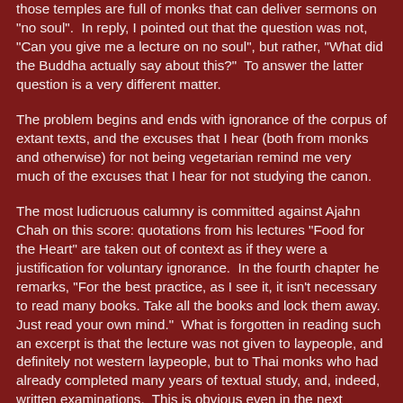those temples are full of monks that can deliver sermons on "no soul".  In reply, I pointed out that the question was not, "Can you give me a lecture on no soul", but rather, "What did the Buddha actually say about this?"  To answer the latter question is a very different matter.
The problem begins and ends with ignorance of the corpus of extant texts, and the excuses that I hear (both from monks and otherwise) for not being vegetarian remind me very much of the excuses that I hear for not studying the canon.
The most ludicruous calumny is committed against Ajahn Chah on this score: quotations from his lectures "Food for the Heart" are taken out of context as if they were a justification for voluntary ignorance.  In the fourth chapter he remarks, "For the best practice, as I see it, it isn't necessary to read many books. Take all the books and lock them away. Just read your own mind."  What is forgotten in reading such an excerpt is that the lecture was not given to laypeople, and definitely not western laypeople, but to Thai monks who had already completed many years of textual study, and, indeed, written examinations.  This is obvious even in the next